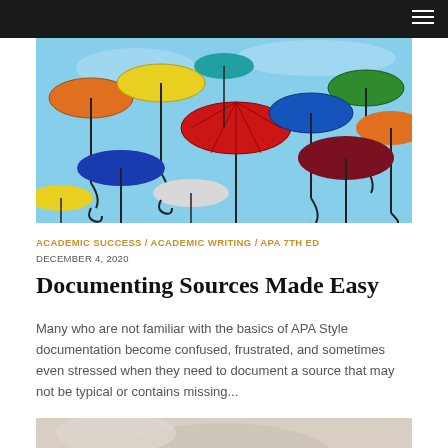[Figure (photo): Colorful umbrellas hanging overhead against a blue sky — red, yellow, green, orange, blue, purple umbrellas with black handles]
ACADEMIC SUCCESS / ACADEMIC WRITING / APA 7TH ED  DECEMBER 4, 2020
Documenting Sources Made Easy
Many who are not familiar with the basics of APA Style documentation become confused, frustrated, and sometimes even stressed when they need to document a source that may not be typical or contains missing...
[Figure (photo): Partial view of a hand or book on a light surface — bottom edge of page]